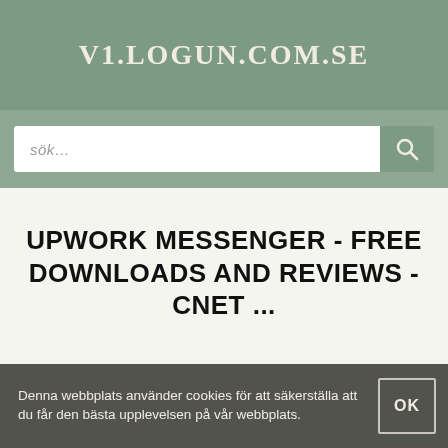V1.LOGUN.COM.SE
[Figure (screenshot): Search bar with placeholder text 'sök...' and a search icon button on the right]
UPWORK MESSENGER - FREE DOWNLOADS AND REVIEWS - CNET ...
Denna webbplats använder cookies för att säkerställa att du får den bästa upplevelsen på vår webbplats.